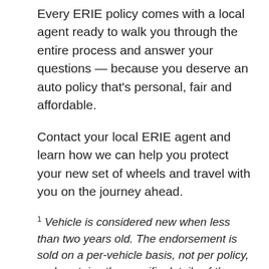Every ERIE policy comes with a local agent ready to walk you through the entire process and answer your questions — because you deserve an auto policy that's personal, fair and affordable.
Contact your local ERIE agent and learn how we can help you protect your new set of wheels and travel with you on the journey ahead.
1 Vehicle is considered new when less than two years old. The endorsement is sold on a per-vehicle basis, not per policy, and contains the specific details of the coverages, terms, conditions and exclusions. Coverage is not available in all states. Eligible vehicles must carry both comprehensive